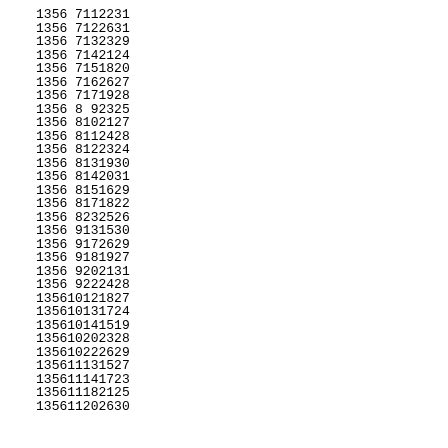| 1 | 3 | 5 | 6 | 7 | 11 | 22 | 31 |
| 1 | 3 | 5 | 6 | 7 | 12 | 26 | 31 |
| 1 | 3 | 5 | 6 | 7 | 13 | 23 | 29 |
| 1 | 3 | 5 | 6 | 7 | 14 | 21 | 24 |
| 1 | 3 | 5 | 6 | 7 | 15 | 18 | 20 |
| 1 | 3 | 5 | 6 | 7 | 16 | 26 | 27 |
| 1 | 3 | 5 | 6 | 7 | 17 | 19 | 28 |
| 1 | 3 | 5 | 6 | 8 | 9 | 23 | 25 |
| 1 | 3 | 5 | 6 | 8 | 10 | 21 | 27 |
| 1 | 3 | 5 | 6 | 8 | 11 | 24 | 28 |
| 1 | 3 | 5 | 6 | 8 | 12 | 23 | 24 |
| 1 | 3 | 5 | 6 | 8 | 13 | 19 | 30 |
| 1 | 3 | 5 | 6 | 8 | 14 | 20 | 31 |
| 1 | 3 | 5 | 6 | 8 | 15 | 16 | 29 |
| 1 | 3 | 5 | 6 | 8 | 17 | 18 | 22 |
| 1 | 3 | 5 | 6 | 8 | 23 | 25 | 26 |
| 1 | 3 | 5 | 6 | 9 | 13 | 15 | 30 |
| 1 | 3 | 5 | 6 | 9 | 17 | 26 | 29 |
| 1 | 3 | 5 | 6 | 9 | 18 | 19 | 27 |
| 1 | 3 | 5 | 6 | 9 | 20 | 21 | 31 |
| 1 | 3 | 5 | 6 | 9 | 22 | 24 | 28 |
| 1 | 3 | 5 | 6 | 10 | 12 | 18 | 27 |
| 1 | 3 | 5 | 6 | 10 | 13 | 17 | 24 |
| 1 | 3 | 5 | 6 | 10 | 14 | 15 | 19 |
| 1 | 3 | 5 | 6 | 10 | 20 | 23 | 28 |
| 1 | 3 | 5 | 6 | 10 | 22 | 26 | 29 |
| 1 | 3 | 5 | 6 | 11 | 13 | 15 | 27 |
| 1 | 3 | 5 | 6 | 11 | 14 | 17 | 23 |
| 1 | 3 | 5 | 6 | 11 | 18 | 21 | 25 |
| 1 | 3 | 5 | 6 | 11 | 20 | 26 | 30 |